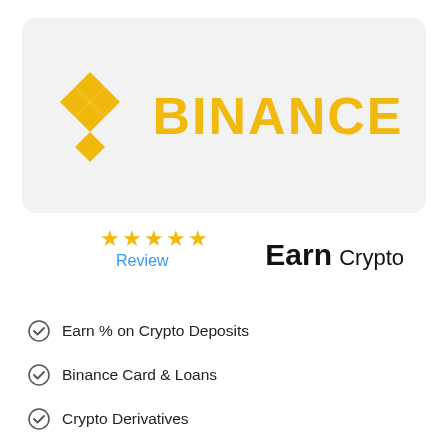[Figure (logo): Binance logo: yellow diamond/star geometric icon with the word BINANCE in bold yellow capital letters, on a light gray rounded rectangle background]
[Figure (other): Five gold/yellow star rating icons]
Review
Earn Crypto
Earn % on Crypto Deposits
Binance Card & Loans
Crypto Derivatives